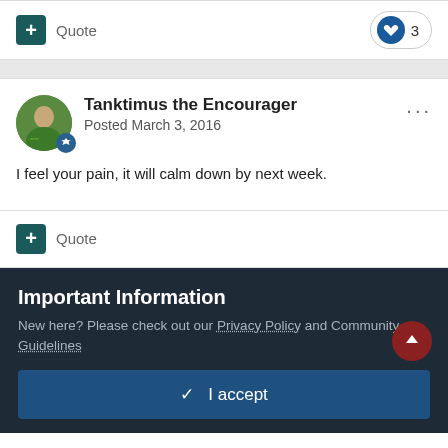Quote
3
Tanktimus the Encourager
Posted March 3, 2016
I feel your pain, it will calm down by next week.
Quote
Important Information
New here? Please check out our Privacy Policy and Community Guidelines
✓  I accept